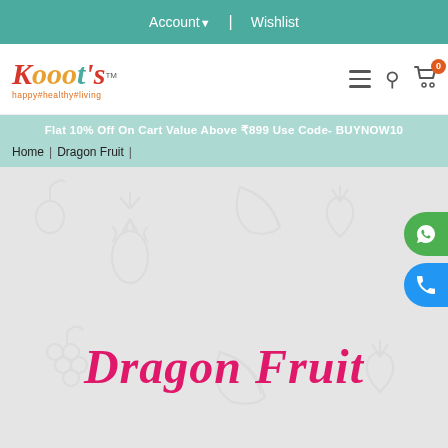Account | Wishlist
[Figure (logo): Kooots logo with tagline happy#healthy#living]
Flat 10% Off On Cart Value Above ₹899 Use Code- BUYNOW10
Home | Dragon Fruit
[Figure (illustration): Dragon Fruit product banner with light grey background showing watermark fruit icons and large pink cursive text 'Dragon Fruit' in the center]